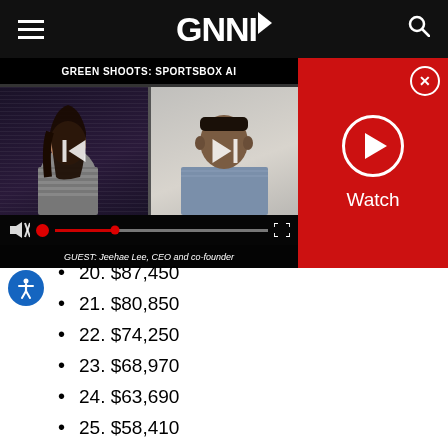GNNI (navigation header with hamburger menu and search icon)
[Figure (screenshot): Video player panel showing 'GREEN SHOOTS: SPORTSBOX AI' with two video frames side by side, playback controls, and a red Watch panel with play button on the right. Caption: GUEST: Jeehae Lee, CEO and co-founder]
20. $87,450
21. $80,850
22. $74,250
23. $68,970
24. $63,690
25. $58,410
26. $53,130
27. $51,150